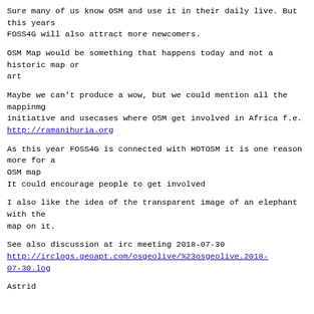Sure many of us know OSM and use it in their daily live. But this years
FOSS4G will also attract more newcomers.
OSM Map would be something that happens today and not a historic map or
art
Maybe we can't produce a wow, but we could mention all the mappinmg
initiative and usecases where OSM get involved in Africa f.e.
http://ramanihuria.org
As this year FOSS4G is connected with HOTOSM it is one reason more for a
OSM map
It could encourage people to get involved
I also like the idea of the transparent image of an elephant with the
map on it.
See also discussion at irc meeting 2018-07-30
http://irclogs.geoapt.com/osgeolive/%23osgeolive.2018-07-30.log
Astrid